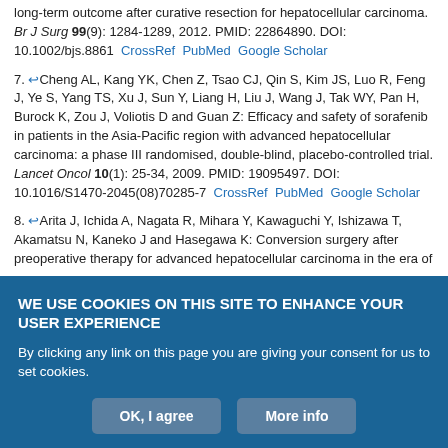long-term outcome after curative resection for hepatocellular carcinoma. Br J Surg 99(9): 1284-1289, 2012. PMID: 22864890. DOI: 10.1002/bjs.8861 CrossRef PubMed Google Scholar
7. Cheng AL, Kang YK, Chen Z, Tsao CJ, Qin S, Kim JS, Luo R, Feng J, Ye S, Yang TS, Xu J, Sun Y, Liang H, Liu J, Wang J, Tak WY, Pan H, Burock K, Zou J, Voliotis D and Guan Z: Efficacy and safety of sorafenib in patients in the Asia-Pacific region with advanced hepatocellular carcinoma: a phase III randomised, double-blind, placebo-controlled trial. Lancet Oncol 10(1): 25-34, 2009. PMID: 19095497. DOI: 10.1016/S1470-2045(08)70285-7 CrossRef PubMed Google Scholar
8. Arita J, Ichida A, Nagata R, Mihara Y, Kawaguchi Y, Ishizawa T, Akamatsu N, Kaneko J and Hasegawa K: Conversion surgery after preoperative therapy for advanced hepatocellular carcinoma in the era of
WE USE COOKIES ON THIS SITE TO ENHANCE YOUR USER EXPERIENCE
By clicking any link on this page you are giving your consent for us to set cookies.